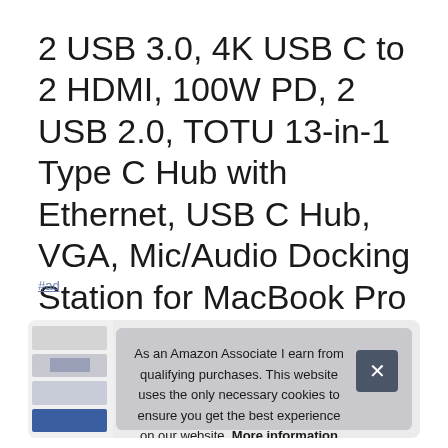2 USB 3.0, 4K USB C to 2 HDMI, 100W PD, 2 USB 2.0, TOTU 13-in-1 Type C Hub with Ethernet, USB C Hub, VGA, Mic/Audio Docking Station for MacBook Pro Air XPS and Other USB-C Laptops, SD/TF Cards Reader
#ad
As an Amazon Associate I earn from qualifying purchases. This website uses the only necessary cookies to ensure you get the best experience on our website. More information